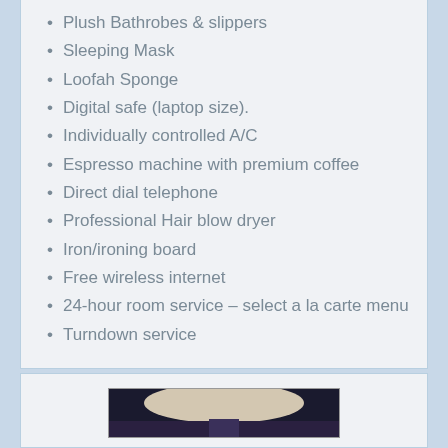Plush Bathrobes & slippers
Sleeping Mask
Loofah Sponge
Digital safe (laptop size).
Individually controlled A/C
Espresso machine with premium coffee
Direct dial telephone
Professional Hair blow dryer
Iron/ironing board
Free wireless internet
24-hour room service – select a la carte menu
Turndown service
[Figure (photo): Hotel room interior photograph showing ceiling light and furniture]